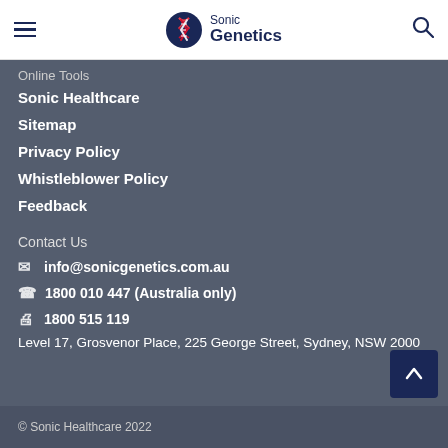Sonic Genetics
Online Tools
Sonic Healthcare
Sitemap
Privacy Policy
Whistleblower Policy
Feedback
Contact Us
info@sonicgenetics.com.au
1800 010 447 (Australia only)
1800 515 119
Level 17, Grosvenor Place, 225 George Street, Sydney, NSW 2000
© Sonic Healthcare 2022